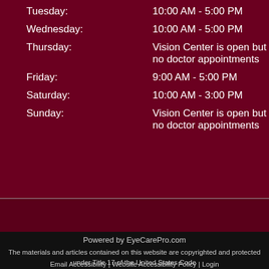| Day | Hours |
| --- | --- |
| Tuesday: | 10:00 AM - 5:00 PM |
| Wednesday: | 10:00 AM - 5:00 PM |
| Thursday: | Vision Center is open but no doctor appointments |
| Friday: | 9:00 AM - 5:00 PM |
| Saturday: | 10:00 AM - 3:00 PM |
| Sunday: | Vision Center is open but no doctor appointments |
Powered by EyeCarePro.com
The materials and articles contained on this website are copyrighted and protected under Title 17 of the United States Code
Email Accessibility | Website Accessibility Policy | Login